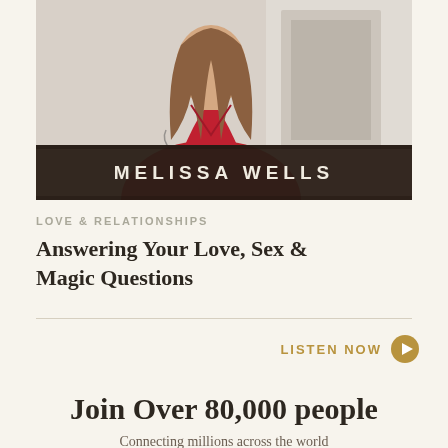[Figure (photo): Photo of Melissa Wells, a woman wearing a red dress, with a dark brown banner overlay showing her name]
MELISSA WELLS
LOVE & RELATIONSHIPS
Answering Your Love, Sex & Magic Questions
LISTEN NOW
Join Over 80,000 people